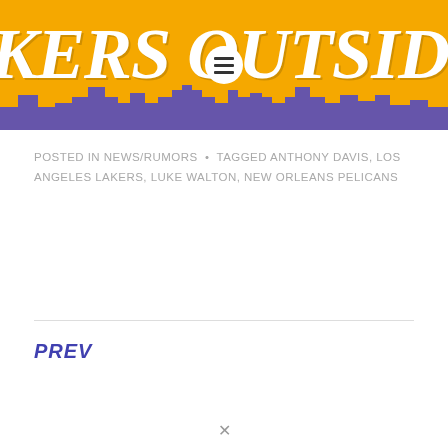[Figure (logo): Lakers Outside the Lines website header banner with gold background, purple city skyline silhouette, white italic bold text reading 'KERS OUTSIDE' (partially cropped), and a hamburger menu icon in a white circle]
POSTED IN NEWS/RUMORS • TAGGED ANTHONY DAVIS, LOS ANGELES LAKERS, LUKE WALTON, NEW ORLEANS PELICANS
PREV